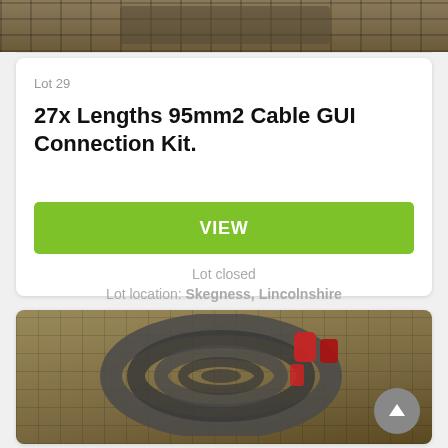[Figure (photo): Top portion of a metal cage/pallet with industrial cable equipment inside, partially visible at top of page]
Lot 29
27x Lengths 95mm2 Cable GUI Connection Kit.
VIEW
Lot closed
Lot location: Skegness, Lincolnshire
[Figure (photo): Metal cage/pallet containing coiled grey cables and red industrial connectors/plugs]